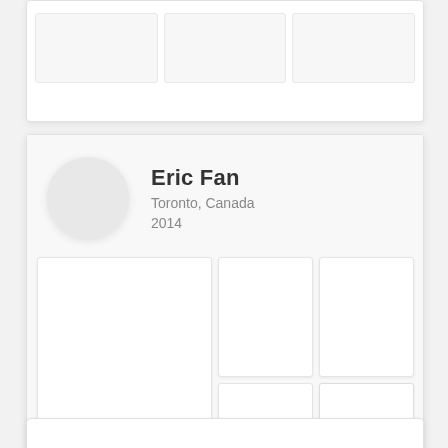[Figure (screenshot): Top card partially visible showing a row of image placeholder boxes]
[Figure (screenshot): Main profile card showing Eric Fan from Toronto, Canada, 2014, with a circular avatar and a photo grid below]
Eric Fan
Toronto, Canada
2014
[Figure (screenshot): Bottom card partially visible at the bottom of the page]